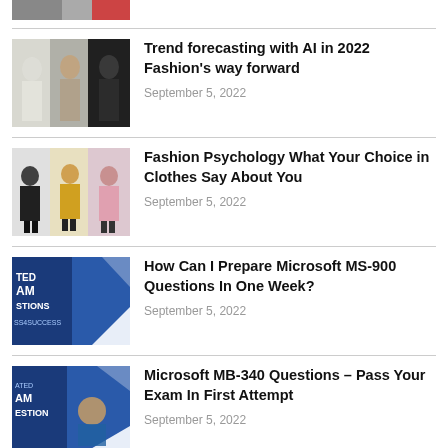[Figure (photo): Partial view of clothing/fashion thumbnail at top of page]
[Figure (photo): Three people wearing matching casual tracksuits/sportswear in grey and black tones]
Trend forecasting with AI in 2022 Fashion's way forward
September 5, 2022
[Figure (photo): Three women wearing oversized hoodies in black, yellow, and pink]
Fashion Psychology What Your Choice in Clothes Say About You
September 5, 2022
[Figure (photo): Exam preparation graphic with text: TED AM STIONS SS4SUCCESS]
How Can I Prepare Microsoft MS-900 Questions In One Week?
September 5, 2022
[Figure (photo): Exam preparation graphic with man studying, text: ATED AM ESTION]
Microsoft MB-340 Questions – Pass Your Exam In First Attempt
September 5, 2022